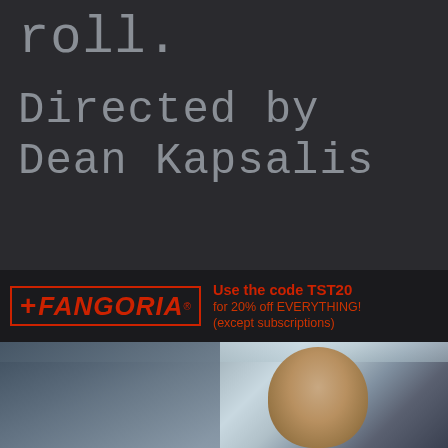roll.
Directed by Dean Kapsalis
[Figure (infographic): Fangoria magazine logo advertisement with red outlined box containing cross symbol and FANGORIA text in red italic. Text reads: Use the code TST20 for 20% off EVERYTHING! (except subscriptions)]
[Figure (photo): Film still showing a woman with blonde hair pulled back, looking directly at camera with a troubled or distressed expression, set in what appears to be a brightly lit indoor environment (possibly a store or facility), with blurred background elements.]